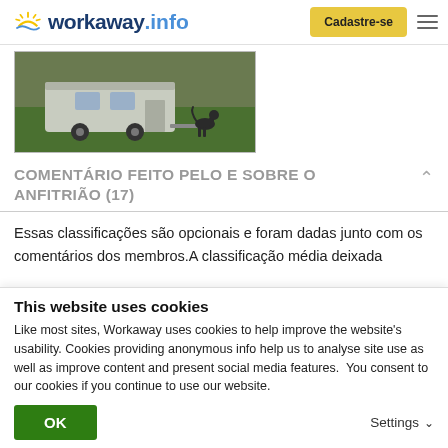workaway.info  Cadastre-se
[Figure (photo): Outdoor photo showing a caravan/trailer parked on green grass with a dog nearby]
COMENTÁRIO FEITO PELO E SOBRE O ANFITRIÃO (17)
Essas classificações são opcionais e foram dadas junto com os comentários dos membros.A classificação média deixada
This website uses cookies
Like most sites, Workaway uses cookies to help improve the website's usability. Cookies providing anonymous info help us to analyse site use as well as improve content and present social media features.  You consent to our cookies if you continue to use our website.
OK    Settings